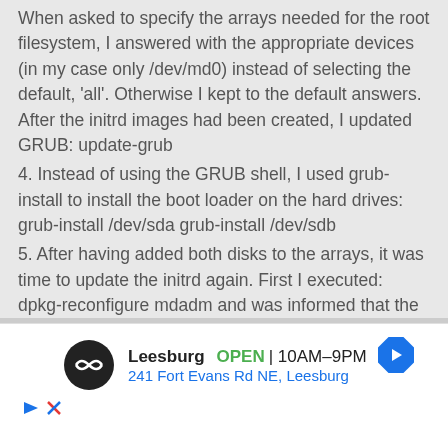When asked to specify the arrays needed for the root filesystem, I answered with the appropriate devices (in my case only /dev/md0) instead of selecting the default, 'all'. Otherwise I kept to the default answers. After the initrd images had been created, I updated GRUB: update-grub
4. Instead of using the GRUB shell, I used grub-install to install the boot loader on the hard drives: grub-install /dev/sda grub-install /dev/sdb
5. After having added both disks to the arrays, it was time to update the initrd again. First I executed: dpkg-reconfigure mdadm and was informed that the initrd would not be updated, because it was a custom image. The configure script informed me that I could force the update by running 'update-initramfs' with the '-t' option, so that is what I did: update-initramfs -u -t
[Figure (other): Advertisement for a store in Leesburg showing name, open status, hours 10AM-9PM, address 241 Fort Evans Rd NE Leesburg, navigation arrow icon, play and close icons]